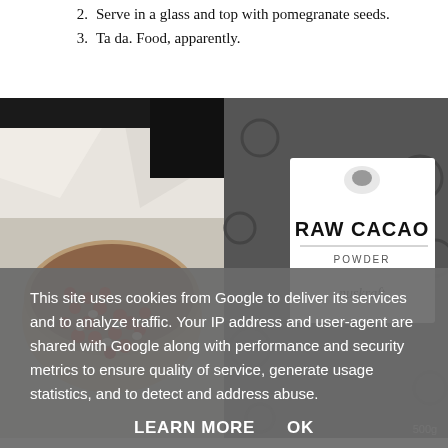2. Serve in a glass and top with pomegranate seeds.
3. Ta da. Food, apparently.
[Figure (photo): Two photos side by side: left shows a bowl of smoothie topped with red and white pomegranate seeds on a white cloth; right shows a bag of Nuskraft Raw Cacao Powder 500g with black and white packaging.]
This site uses cookies from Google to deliver its services and to analyze traffic. Your IP address and user-agent are shared with Google along with performance and security metrics to ensure quality of service, generate usage statistics, and to detect and address abuse.
LEARN MORE   OK